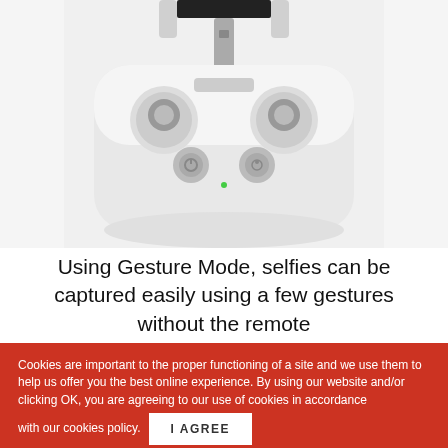[Figure (photo): A white drone remote controller (DJI style) viewed from the front, with joysticks, buttons, and a phone/tablet holder at the top. Set against a light gray/white background. The image is cropped at the top showing just the controller body.]
Using Gesture Mode, selfies can be captured easily using a few gestures without the remote
Cookies are important to the proper functioning of a site and we use them to help us offer you the best online experience. By using our website and/or clicking OK, you are agreeing to our use of cookies in accordance with our cookies policy.
I AGREE